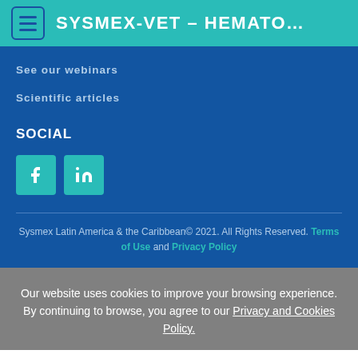SYSMEX-VET – HEMATO...
See our webinars
Scientific articles
SOCIAL
[Figure (other): Social media icons: Facebook and LinkedIn buttons in teal]
Sysmex Latin America & the Caribbean© 2021. All Rights Reserved. Terms of Use and Privacy Policy
Our website uses cookies to improve your browsing experience. By continuing to browse, you agree to our Privacy and Cookies Policy.